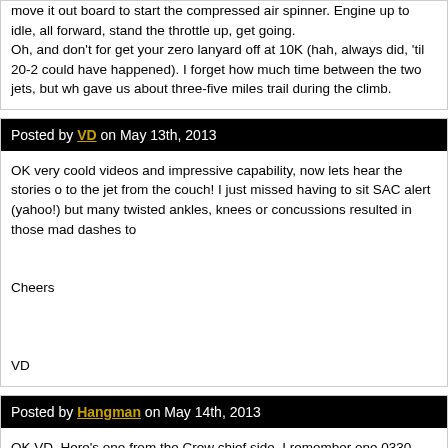move it out board to start the compressed air spinner. Engine up to idle, all forward, stand the throttle up, get going. Oh, and don't for get your zero lanyard off at 10K (hah, always did, 'til 20-2 could have happened). I forget how much time between the two jets, but wh gave us about three-five miles trail during the climb.
Posted by VD on May 13th, 2013
OK very coold videos and impressive capability, now lets hear the stories o to the jet from the couch! I just missed having to sit SAC alert (yahoo!) but many twisted ankles, knees or concussions resulted in those mad dashes to

Cheers

VD
Posted by Hangman on May 14th, 2013
OK VD. Here's one from the Crew chief side. I remember one 0330 launch the barn next door was a recent new arrival from the very SAC house alert s mentioned. Now our doors to the house were sliding doors where as in SAC